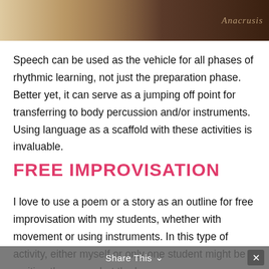[Figure (photo): Photo of educational card materials with tree illustrations on a dark brown background, with 'Anacrusis' watermark in the top right corner.]
Speech can be used as the vehicle for all phases of rhythmic learning, not just the preparation phase. Better yet, it can serve as a jumping off point for transferring to body percussion and/or instruments. Using language as a scaffold with these activities is invaluable.
FREE IMPROVISATION
I love to use a poem or a story as an outline for free improvisation with my students, whether with movement or using instruments. In this type of activity, either myself or only one student might be reciting the poem, but the language serves as an